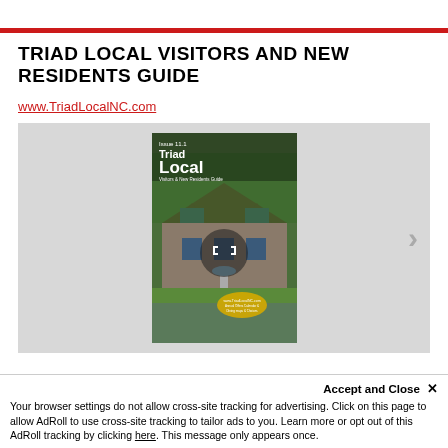TRIAD LOCAL VISITORS AND NEW RESIDENTS GUIDE
www.TriadLocalNC.com
[Figure (photo): Magazine cover of 'Triad Local Visitors & New Residents Guide', Issue 11.1, showing a stone mill building with a fountain and lush green landscape. A circular expand icon is overlaid on the center of the image.]
Accept and Close ✕
Your browser settings do not allow cross-site tracking for advertising. Click on this page to allow AdRoll to use cross-site tracking to tailor ads to you. Learn more or opt out of this AdRoll tracking by clicking here. This message only appears once.